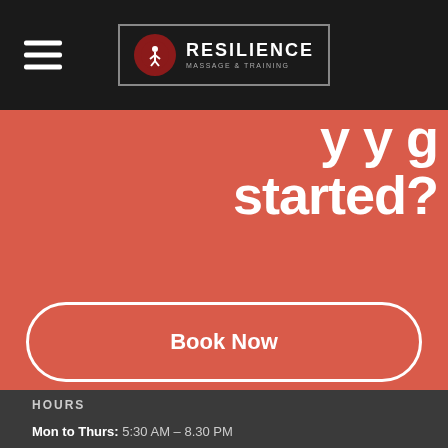Resilience Massage & Training — navigation header with hamburger menu and logo
started?
Book Now
HOURS
Mon to Thurs: 5:30 AM – 8.30 PM
Friday: 5:30 AM – 4:00 PM
Saturday: 6:30 AM – 5:00 PM
Sunday: Closed